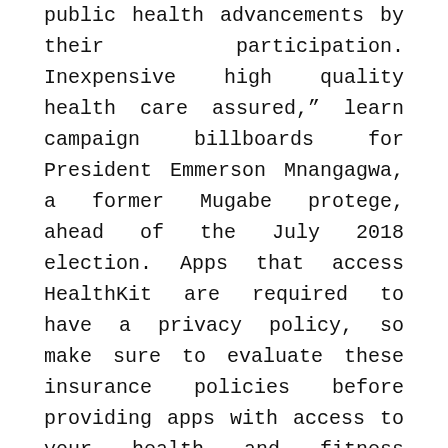public health advancements by their participation. Inexpensive high quality health care assured," learn campaign billboards for President Emmerson Mnangagwa, a former Mugabe protege, ahead of the July 2018 election. Apps that access HealthKit are required to have a privacy policy, so make sure to evaluate these insurance policies before providing apps with access to your health and fitness data.The main focus of public health interventions is to prevent and handle diseases, injuries and different health conditions by means of surveillance of cases and the promotion of healthy habits , communities , and (in facets relevant to human health) environments Its purpose is to stop